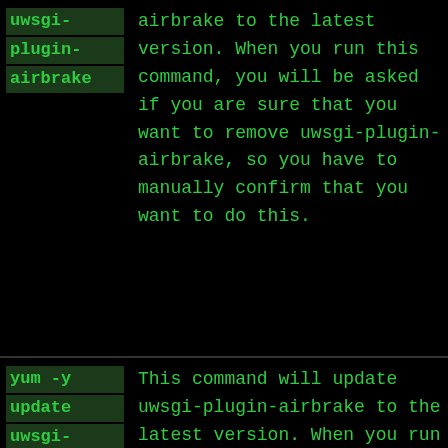| Command | Description |
| --- | --- |
| uwsgi-plugin-airbrake | airbrake to the latest version. When you run this command, you will be asked if you are sure that you want to remove uwsgi-plugin-airbrake, so you have to manually confirm that you want to do this. |
| yum -y update uwsgi-plugin-airbrake | This command will update uwsgi-plugin-airbrake to the latest version. When you run this command with the |